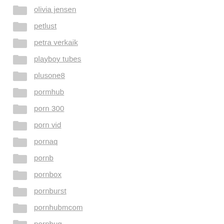olivia jensen
petlust
petra verkaik
playboy tubes
plusone8
pormhub
porn 300
porn vid
pornaq
pornb
pornbox
pornburst
pornhubmcom
pornbug